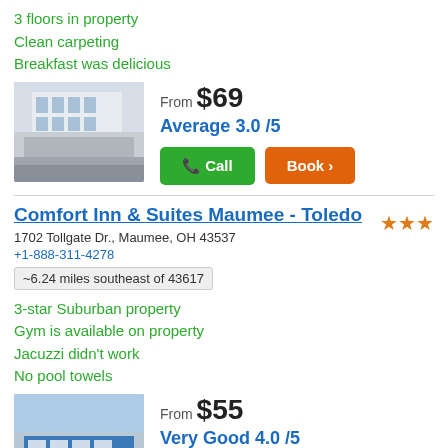3 floors in property
Clean carpeting
Breakfast was delicious
[Figure (photo): Exterior photo of a multi-story hotel building]
From $69
Average 3.0 /5
Call
Book >
Comfort Inn & Suites Maumee - Toledo
1702 Tollgate Dr., Maumee, OH 43537
+1-888-311-4278
~6.24 miles southeast of 43617
3-star Suburban property
Gym is available on property
Jacuzzi didn't work
No pool towels
[Figure (photo): Exterior photo of Comfort Inn & Suites Maumee - Toledo with blue sky]
From $55
Very Good 4.0 /5